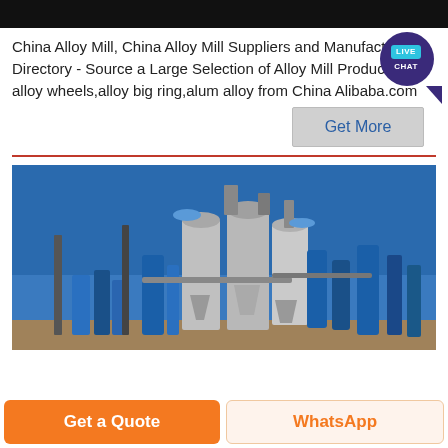[Figure (photo): Black header bar at top of webpage]
China Alloy Mill, China Alloy Mill Suppliers and Manufacturers Directory - Source a Large Selection of Alloy Mill Products at alloy wheels,alloy big ring,alum alloy from China Alibaba.com
[Figure (other): Live Chat bubble icon in teal and dark purple]
[Figure (other): Get More button - grey rectangular button with blue text]
[Figure (photo): Industrial alloy mill facility with large silver cylindrical tanks, blue pipes and equipment under a clear blue sky]
[Figure (other): Get a Quote orange button and WhatsApp button at bottom of page]